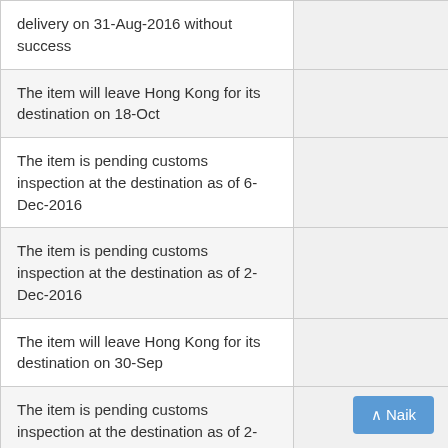| Status |  |
| --- | --- |
| delivery on 31-Aug-2016 without success |  |
| The item will leave Hong Kong for its destination on 18-Oct |  |
| The item is pending customs inspection at the destination as of 6-Dec-2016 |  |
| The item is pending customs inspection at the destination as of 2-Dec-2016 |  |
| The item will leave Hong Kong for its destination on 30-Sep |  |
| The item is pending customs inspection at the destination as of 2-Nov-2016 |  |